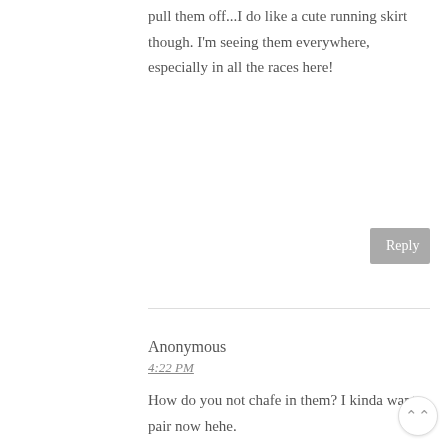pull them off...I do like a cute running skirt though. I'm seeing them everywhere, especially in all the races here!
Reply
Anonymous
4:22 PM
How do you not chafe in them? I kinda want a pair now hehe.
Reply
[Figure (photo): Circular avatar photo of a person with dark hair smiling]
LINDSAY
7:14 PM